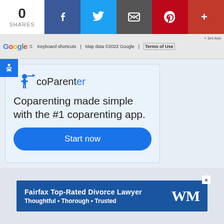[Figure (screenshot): Social share bar with 0 shares count and buttons: Facebook, Twitter, Email, Pinterest, More]
[Figure (screenshot): Google Maps partial screenshot showing keyboard shortcuts, map data copyright 2022 Google, Terms of Use, and 3rd Ave label]
[Figure (infographic): coParenter app advertisement card with logo, tagline 'Coparenting made simple with the #1 coparenting app.' and Start now button]
[Figure (screenshot): Bottom advertisement banner: Fairfax Top-Rated Divorce Lawyer - Thoughtful • Thorough • Trusted with WM logo]